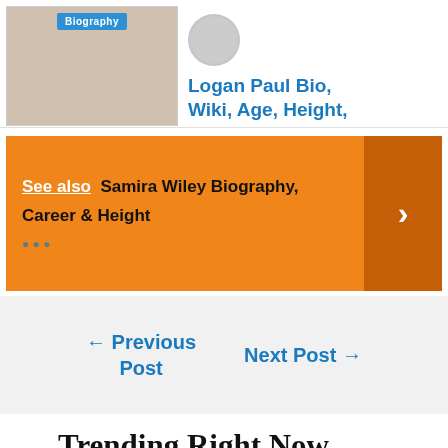[Figure (photo): Partial image card on the left with a biography label overlay]
Logan Paul Bio, Wiki, Age, Height,
See also  Samira Wiley Biography, Career & Height
← Previous Post
Next Post →
Trending Right Now
[Figure (photo): Partially visible thumbnail image at the bottom]